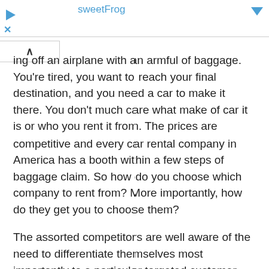sweetFrog
ing off an airplane with an armful of baggage. You're tired, you want to reach your final destination, and you need a car to make it there. You don't much care what make of car it is or who you rent it from. The prices are competitive and every car rental company in America has a booth within a few steps of baggage claim. So how do you choose which company to rent from? More importantly, how do they get you to choose them?
The assorted competitors are well aware of the need to differentiate themselves most importantly to a particular targeted customer…the active business traveler. Years ago these companies set out to define who this choice customer was and came up with some surprising statistics.